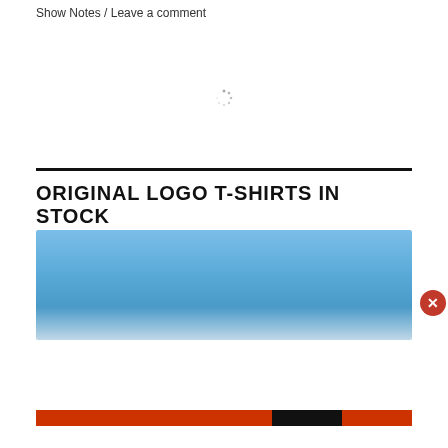Show Notes / Leave a comment
[Figure (other): Loading spinner icon in the center of the page]
ORIGINAL LOGO T-SHIRTS IN STOCK
[Figure (photo): Blue t-shirt fabric close-up photo]
Privacy & Cookies: This site uses cookies. By continuing to use this website, you agree to their use.
To find out more, including how to control cookies, see here:
Cookie Policy
Close and accept